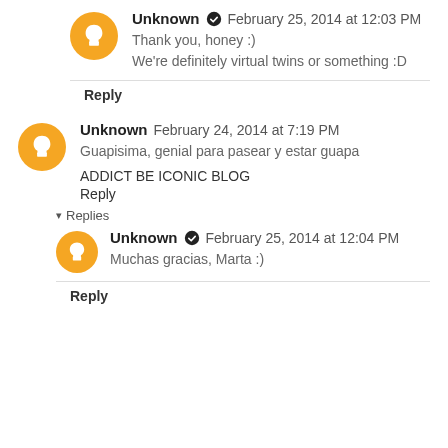Unknown ✓  February 25, 2014 at 12:03 PM
Thank you, honey :)
We're definitely virtual twins or something :D
Reply
Unknown  February 24, 2014 at 7:19 PM
Guapisima, genial para pasear y estar guapa
ADDICT BE ICONIC BLOG
Reply
▾ Replies
Unknown ✓  February 25, 2014 at 12:04 PM
Muchas gracias, Marta :)
Reply